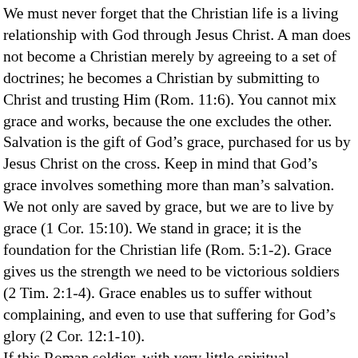We must never forget that the Christian life is a living relationship with God through Jesus Christ. A man does not become a Christian merely by agreeing to a set of doctrines; he becomes a Christian by submitting to Christ and trusting Him (Rom. 11:6). You cannot mix grace and works, because the one excludes the other. Salvation is the gift of God’s grace, purchased for us by Jesus Christ on the cross. Keep in mind that God’s grace involves something more than man’s salvation. We not only are saved by grace, but we are to live by grace (1 Cor. 15:10). We stand in grace; it is the foundation for the Christian life (Rom. 5:1-2). Grace gives us the strength we need to be victorious soldiers (2 Tim. 2:1-4). Grace enables us to suffer without complaining, and even to use that suffering for God’s glory (2 Cor. 12:1-10).
If this Roman soldier, with very little spiritual instruction, had that kind of faith in God’s Word, how much greater our faith ought to be! We have an entire Bible to read and study, as well as nearly 2,000 years of church history to encourage us, and yet some are guilty of “no faith” or “little faith.”
I can’t tell you why someone is healed and someone else isn’t. If we